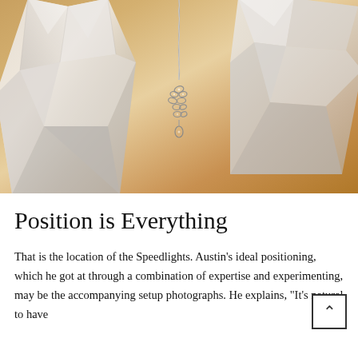[Figure (photo): Close-up photograph of a crystal/diamond pendant necklace hanging between two large clear crystal glass objects on a warm golden-orange background.]
Position is Everything
That is the location of the Speedlights. Austin's ideal positioning, which he got at through a combination of expertise and experimenting, may be the accompanying setup photographs. He explains, "It's natural to have